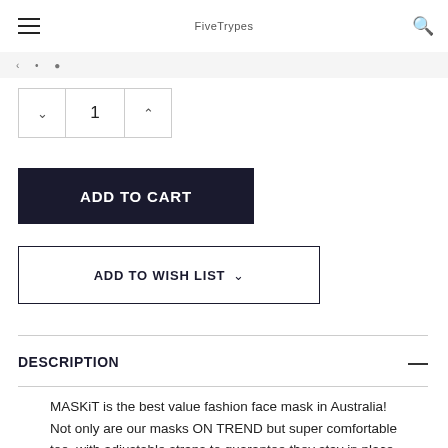≡  FiveTrypes  🔍
1
ADD TO CART
ADD TO WISH LIST
DESCRIPTION
MASKiT is the best value fashion face mask in Australia! Not only are our masks ON TREND but super comfortable too, with adjustable straps to guarantee they stay in place. Being reusable, they are the perfect alternative to